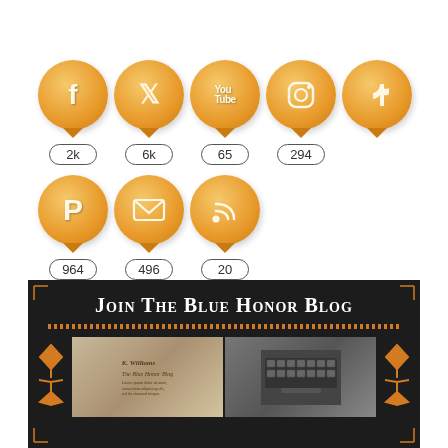[Figure (infographic): Social media follower counts displayed as orange circular badges with icons for Facebook (2k), Twitter (6k), YouTube (65), Instagram (294), TikTok (no count shown), Pinterest (964), Email (496), RSS (20). Each badge has a pointed bottom and a rounded rectangle count label below.]
[Figure (infographic): Dark banner reading 'Join The Blue Honor Blog' in white small-caps serif font with orange decorative line and orange ornamental designs on sides, plus two photo panels showing books/documents and a typewriter.]